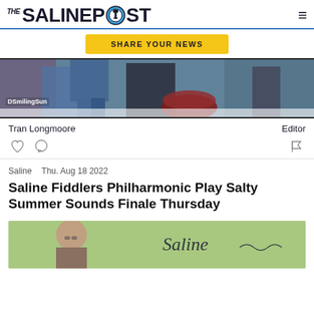The Saline Post
[Figure (screenshot): Share Your News button (yellow/gold background, dark bold text)]
[Figure (photo): Partial photo of musicians/performers, with watermark text 'DSmilingSun' in bottom left]
Tran Longmoore    Editor
[Figure (infographic): Icon row: heart icon, comment bubble icon on left; flag icon on right]
Saline    Thu. Aug 18 2022
Saline Fiddlers Philharmonic Play Salty Summer Sounds Finale Thursday
[Figure (photo): Partial bottom image showing a person and cursive text reading 'Saline']